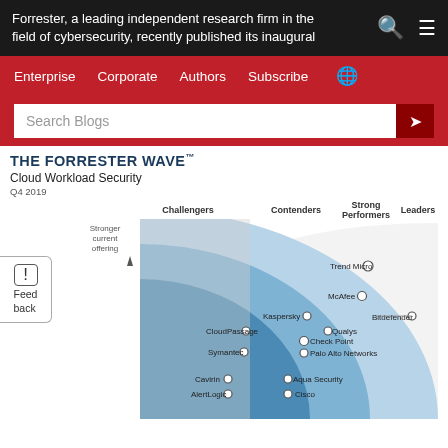Forrester, a leading independent research firm in the field of cybersecurity, recently published its inaugural
Enterprise  Corporate  Authors  Subscribe  🌐
Search Blogs
THE FORRESTER WAVE™
Cloud Workload Security
Q4 2019
[Figure (scatter-plot): Forrester Wave scatter plot showing vendors positioned across Challengers, Contenders, Strong Performers, and Leaders quadrants. Y-axis: Stronger current offering. Companies plotted: Leaders: Trend Micro, McAfee, Bitdefender, Kaspersky, Qualys, Check Point, Palo Alto Networks; Strong Performers: CloudPassage, Symantec; Contenders: Cavirin, AlertLogic; Lower: Aqua Security, Cisco.]